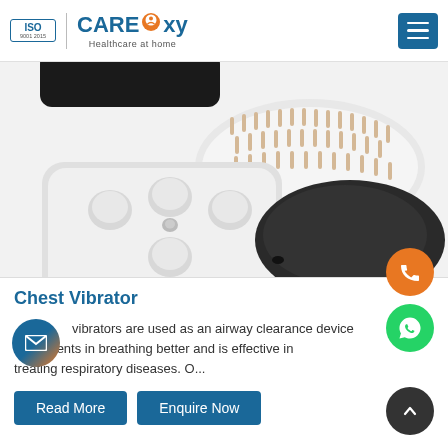ISO 9001 2015 | CareOxy Healthcare at home
[Figure (photo): Chest vibrator product photo showing multiple components: a white rectangular massager unit with rounded corners and bumps/nodes on top, a white oval brush-like attachment with bristles, and a dark/black oval smooth attachment, all arranged on white background.]
Chest Vibrator
vibrators are used as an airway clearance device me patients in breathing better and is effective in treating respiratory diseases. O...